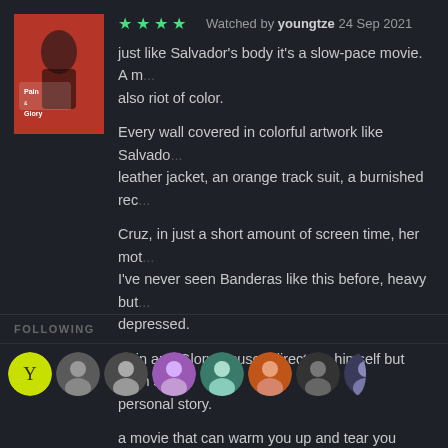[Figure (photo): Movie poster for 'Pain & Glory' showing a man in red background with text 'Pain & Glory']
★★★★ Watched by youngtze 24 Sep 2021
just like Salvador's body it's a slow-pace movie. A m... also riot of color.
Every wall covered in colorful artwork like Salvado... leather jacket, an orange track suit, a burnished rec...
Cruz, in just a short amount of screen time, her mot... I've never seen Banderas like this before, heavy but... depressed.
Pain and Glory focuses director's himself but even s... personal story.
a movie that can warm you up and tear you down bo...
♥ 12 likes
FOLLOWING
[Figure (photo): Row of user avatar profile pictures]